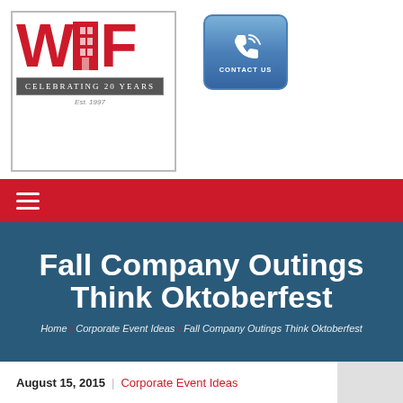[Figure (logo): WCF logo with red letters and Celebrating 20 Years banner, Est. 1997]
[Figure (other): Contact Us button with phone icon, blue rounded rectangle]
Navigation hamburger menu on red bar
Fall Company Outings Think Oktoberfest
Home > Corporate Event Ideas > Fall Company Outings Think Oktoberfest
August 15, 2015 | Corporate Event Ideas